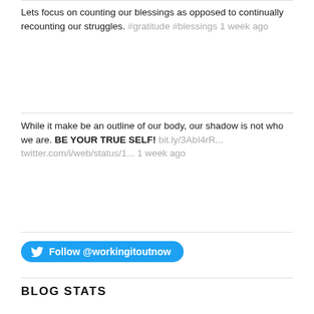Lets focus on counting our blessings as opposed to continually recounting our struggles. #gratitude #blessings 1 week ago
While it make be an outline of our body, our shadow is not who we are. BE YOUR TRUE SELF! bit.ly/3AbI4rR... twitter.com/i/web/status/1... 1 week ago
[Figure (other): Twitter Follow button: Follow @workingitoutnow]
BLOG STATS
15,140 hits
FOLLOW US